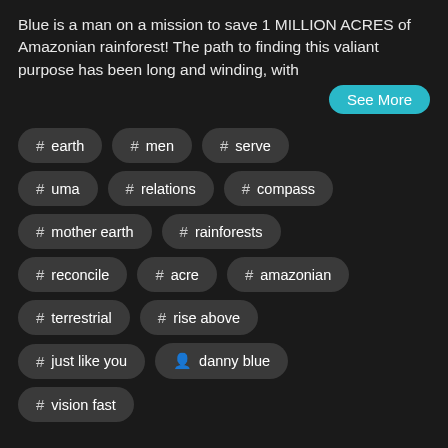Blue is a man on a mission to save 1 MILLION ACRES of Amazonian rainforest! The path to finding this valiant purpose has been long and winding, with
See More
# earth
# men
# serve
# uma
# relations
# compass
# mother earth
# rainforests
# reconcile
# acre
# amazonian
# terrestrial
# rise above
# just like you
danny blue
# vision fast